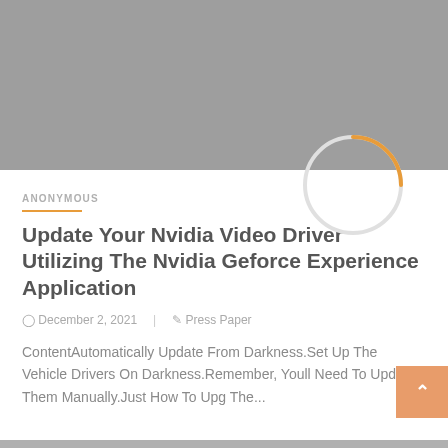[Figure (photo): Gray placeholder hero image at the top of the article page]
ANONYMOUS
Update Your Nvidia Video Driver Utilizing The Nvidia Geforce Experience Application
December 2, 2021   Press Paper
ContentAutomatically Update From Darkness.Set Up The Vehicle Drivers On Darkness.Remember, Youll Need To Update Them Manually.Just How To Upg The...